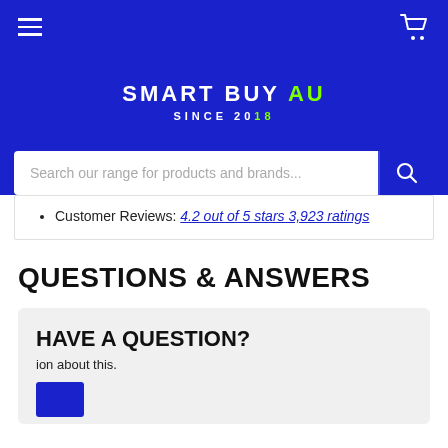SMART BUY AU SINCE 2018
Customer Reviews: 4.2 out of 5 stars 3,923 ratings
QUESTIONS & ANSWERS
HAVE A QUESTION?
ion about this.